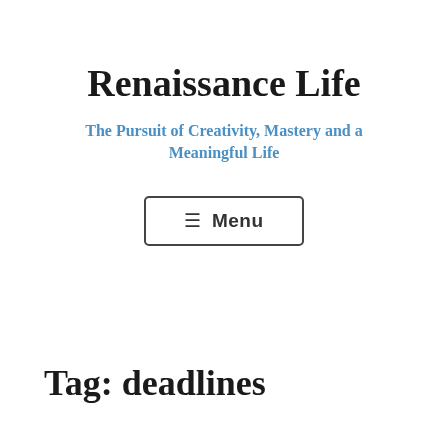Renaissance Life
The Pursuit of Creativity, Mastery and a Meaningful Life
≡ Menu
Tag: deadlines